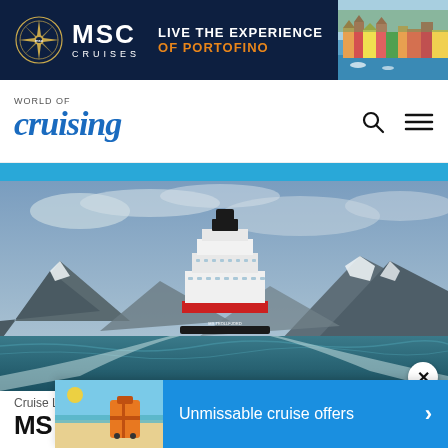[Figure (screenshot): MSC Cruises banner advertisement with dark navy background. MSC Cruises logo on left with compass emblem. Text reads LIVE THE EXPERIENCE OF PORTOFINO (OF PORTOFINO in orange). Right side shows a photo of Portofino colorful coastal town.]
[Figure (logo): World of Cruising website logo. Small text WORLD OF above large italic blue script text 'cruising'. Search icon and hamburger menu icon on right.]
[Figure (photo): Hero photo of a Hurtigruten cruise ship sailing in Norwegian fjords. Ship has red and white hull with black funnel, heading toward the viewer. Snow-capped mountains in background, overcast sky, blue-green choppy water.]
Cruise Line
MS O
[Figure (screenshot): Popup overlay banner at bottom of page. Left section shows a thumbnail image of beach/travel suitcase. Right blue section reads 'Unmissable cruise offers' with a right-arrow chevron. A circular close (X) button appears above the banner on the right side.]